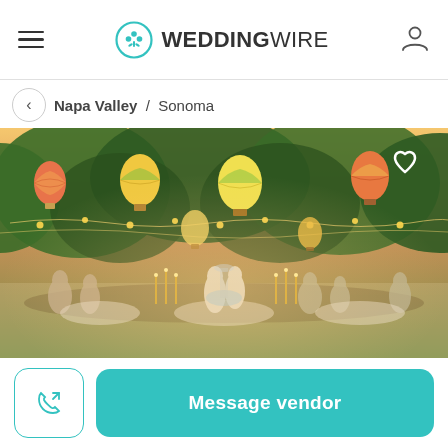WEDDINGWIRE
Napa Valley / Sonoma
[Figure (photo): Outdoor wedding reception scene with string lights, colorful hot air balloon lanterns, trees in background, guests in white attire seated at tables with candelabras and flowers]
Message vendor